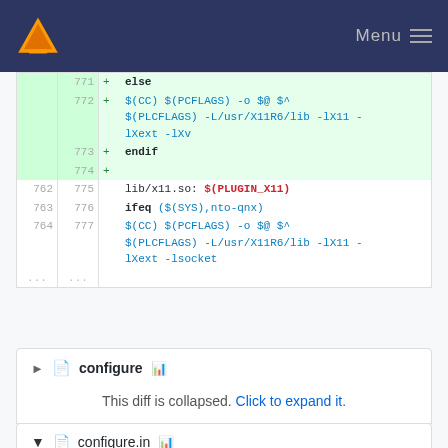VLC Menu
[Figure (screenshot): Git diff view showing Makefile code changes. Lines 771-774 are added (green background): '+ else', '+ $(CC) $(PCFLAGS) -o $@ $^ $(PLCFLAGS) -L/usr/X11R6/lib -lX11 -lXext -lXv', '+ endif', '+'. Lines 775-777 show unchanged context: 'lib/x11.so: $(PLUGIN_X11)', 'ifeq ($(SYS),nto-qnx)', '$(CC) $(PCFLAGS) -o $@ $^ $(PLCFLAGS) -L/usr/X11R6/lib -lX11 -lXext -lsocket']
configure
This diff is collapsed. Click to expand it.
configure.in